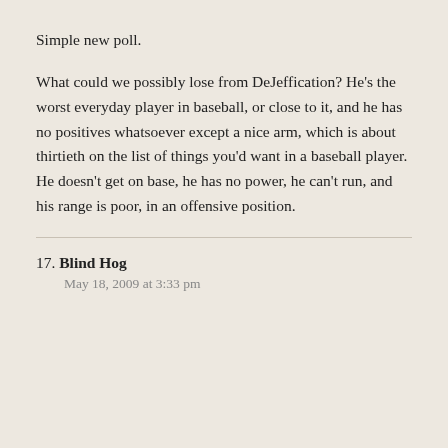Simple new poll.
What could we possibly lose from DeJeffication? He’s the worst everyday player in baseball, or close to it, and he has no positives whatsoever except a nice arm, which is about thirtieth on the list of things you’d want in a baseball player. He doesn’t get on base, he has no power, he can’t run, and his range is poor, in an offensive position.
17. Blind Hog
May 18, 2009 at 3:33 pm